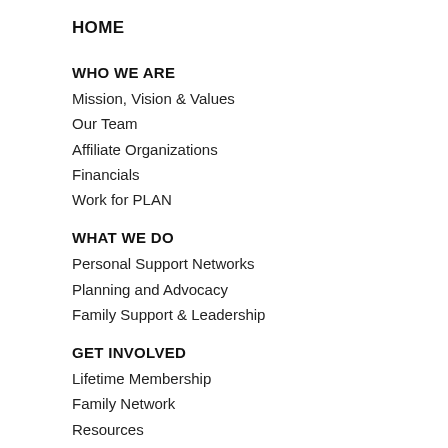HOME
WHO WE ARE
Mission, Vision & Values
Our Team
Affiliate Organizations
Financials
Work for PLAN
WHAT WE DO
Personal Support Networks
Planning and Advocacy
Family Support & Leadership
GET INVOLVED
Lifetime Membership
Family Network
Resources
PLAN INSTITUTE